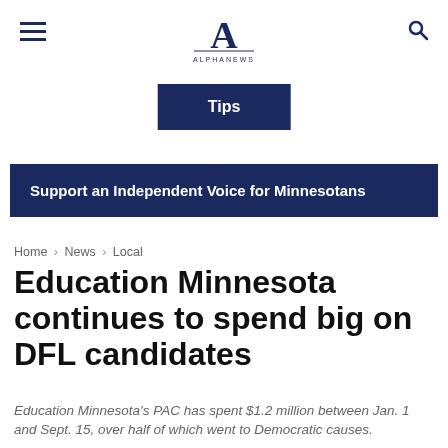Alpha News — hamburger menu, logo, search icon
Tips
Support an Independent Voice for Minnesotans
Home › News › Local
Education Minnesota continues to spend big on DFL candidates
Education Minnesota's PAC has spent $1.2 million between Jan. 1 and Sept. 15, over half of which went to Democratic causes.